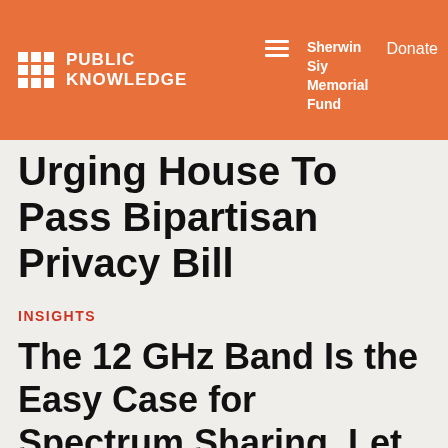PUBLIC KNOWLEDGE | Sherwin Siy Memorial Fund | Donate
Urging House To Pass Bipartisan Privacy Bill
INSIGHTS
The 12 GHz Band Is the Easy Case for Spectrum Sharing. Let the FCC Do Its Job.